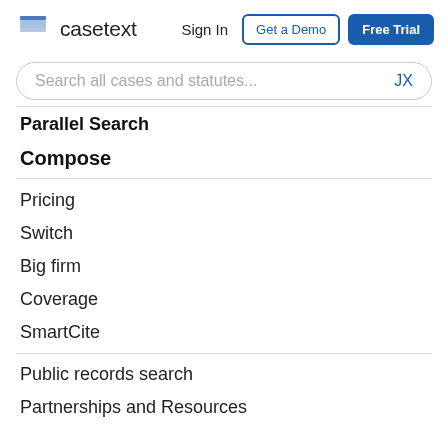casetext — Sign In | Get a Demo | Free Trial
Search all cases and statutes... JX
Parallel Search
Compose
Pricing
Switch
Big firm
Coverage
SmartCite
Public records search
Partnerships and Resources